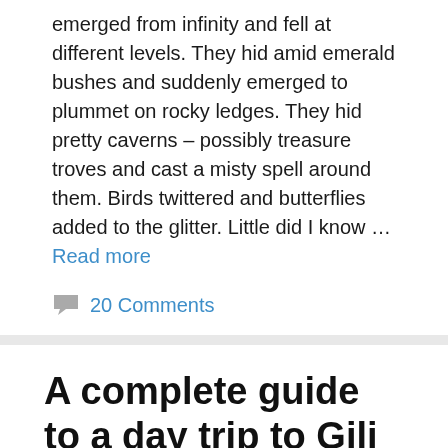emerged from infinity and fell at different levels. They hid amid emerald bushes and suddenly emerged to plummet on rocky ledges. They hid pretty caverns – possibly treasure troves and cast a misty spell around them. Birds twittered and butterflies added to the glitter. Little did I know … Read more
20 Comments
A complete guide to a day trip to Gili Islands, Indonesia
December 9, 2019